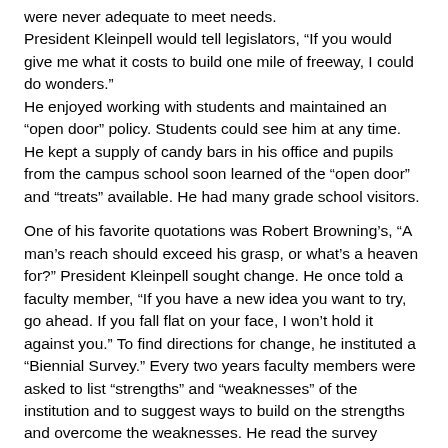were never adequate to meet needs. President Kleinpell would tell legislators, “If you would give me what it costs to build one mile of freeway, I could do wonders.” He enjoyed working with students and maintained an “open door” policy. Students could see him at any time. He kept a supply of candy bars in his office and pupils from the campus school soon learned of the “open door” and “treats” available. He had many grade school visitors.
One of his favorite quotations was Robert Browning’s, “A man’s reach should exceed his grasp, or what’s a heaven for?” President Kleinpell sought change. He once told a faculty member, “If you have a new idea you want to try, go ahead. If you fall flat on your face, I won’t hold it against you.” To find directions for change, he instituted a “Biennial Survey.” Every two years faculty members were asked to list “strengths” and “weaknesses” of the institution and to suggest ways to build on the strengths and overcome the weaknesses. He read the survey returns carefully.